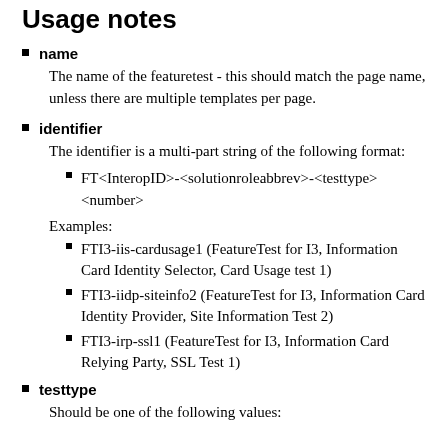Usage notes
name
The name of the featuretest - this should match the page name, unless there are multiple templates per page.
identifier
The identifier is a multi-part string of the following format:
FT<InteropID>-<solutionroleabbrev>-<testtype> <number>
Examples:
FTI3-iis-cardusage1 (FeatureTest for I3, Information Card Identity Selector, Card Usage test 1)
FTI3-iidp-siteinfo2 (FeatureTest for I3, Information Card Identity Provider, Site Information Test 2)
FTI3-irp-ssl1 (FeatureTest for I3, Information Card Relying Party, SSL Test 1)
testtype
Should be one of the following values: